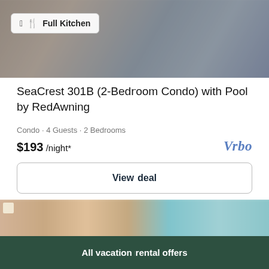[Figure (photo): Blurred interior photo of a condo with kitchen badge overlay reading Full Kitchen]
SeaCrest 301B (2-Bedroom Condo) with Pool by RedAwning
Condo · 4 Guests · 2 Bedrooms
$193 /night*
[Figure (logo): Vrbo logo in blue italic text]
View deal
[Figure (photo): Blurred interior photo of a vacation rental room with warm lighting]
All vacation rental offers